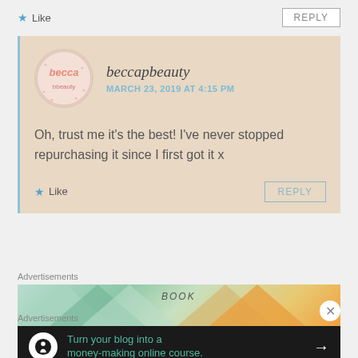★ Like
REPLY
beccapbeauty
MARCH 23, 2019 AT 4:15 PM
Oh, trust me it's the best! I've never stopped repurchasing it since I first got it x
★ Like
REPLY
Advertisements
[Figure (photo): Colorful geometric book advertisement banner with text 'BOOK']
Advertisements
[Figure (infographic): Dark banner ad with white tree/person icon circle: Turn your blog into a money-making online course. Arrow pointing right.]